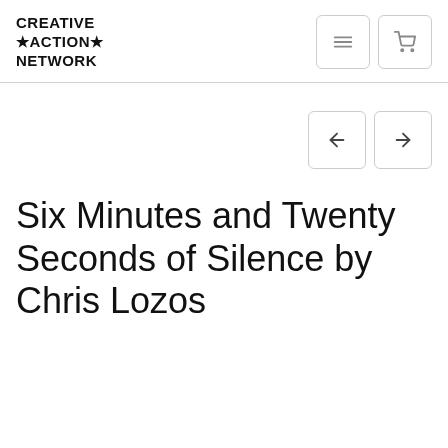CREATIVE ★ACTION★ NETWORK
Six Minutes and Twenty Seconds of Silence by Chris Lozos